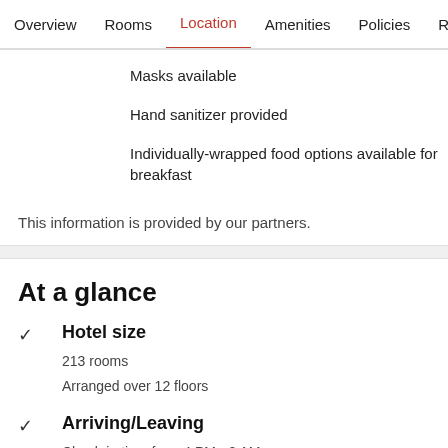Overview  Rooms  Location  Amenities  Policies  Reviews
Masks available
Hand sanitizer provided
Individually-wrapped food options available for breakfast
This information is provided by our partners.
At a glance
Hotel size
213 rooms
Arranged over 12 floors
Arriving/Leaving
Check-in time from 4 PM - 2 AM
Express check-in/out